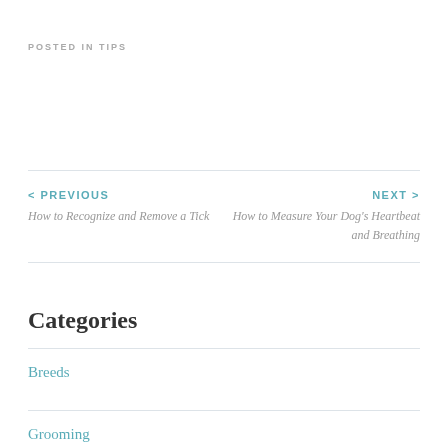POSTED IN TIPS
< PREVIOUS
How to Recognize and Remove a Tick
NEXT >
How to Measure Your Dog's Heartbeat and Breathing
Categories
Breeds
Grooming
Health